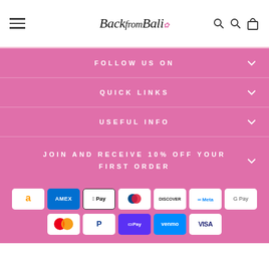Back from Bali
FOLLOW US ON
QUICK LINKS
USEFUL INFO
JOIN AND RECEIVE 10% OFF YOUR FIRST ORDER
[Figure (other): Payment method logos: Amazon, Amex, Apple Pay, Diners Club, Discover, Meta Pay, Google Pay, Mastercard, PayPal, Shop Pay, Venmo, Visa]